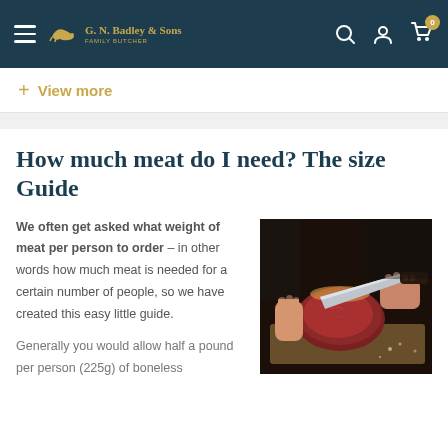G. N. Badley & Sons — navigation header with hamburger menu, logo, search, account, and cart icons
+ View more
How much meat do I need? The size Guide
We often get asked what weight of meat per person to order – in other words how much meat is needed for a certain number of people, so we have created this easy little guide.
[Figure (photo): Hands slicing a raw beef joint on a wooden cutting board with a knife, dark background]
Generally you would allow half a pound per person (225g) of boneless